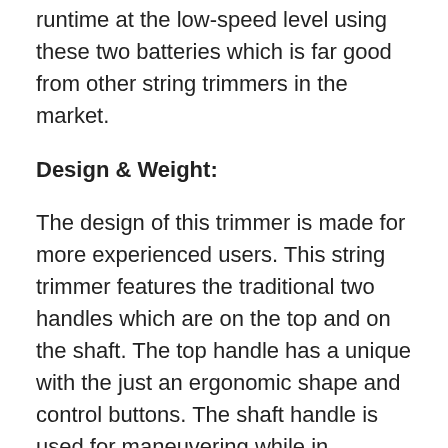runtime at the low-speed level using these two batteries which is far good from other string trimmers in the market.
Design & Weight:
The design of this trimmer is made for more experienced users. This string trimmer features the traditional two handles which are on the top and on the shaft. The top handle has a unique with the just an ergonomic shape and control buttons. The shaft handle is used for maneuvering while in operation. The batteries are fixed at the back of the top handle.
The weight of this string trimmer is 11.9lbs.